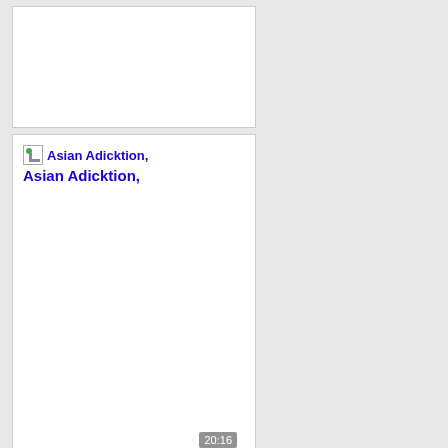[Figure (screenshot): White card placeholder, top card]
[Figure (screenshot): Card with broken image icon and link text 'Asian Adicktion,' in blue bold, with timestamp 20:16 overlay]
Asian Adicktion,
[Figure (photo): Thumbnail image showing a blurred brownish/skin-toned photo with black bar at top, timestamp 10:21 overlay at bottom]